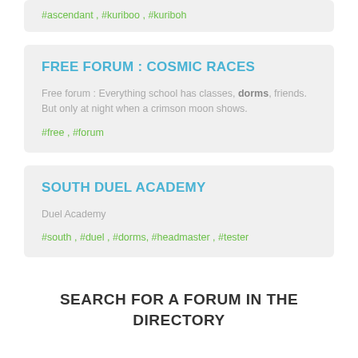#ascendant , #kuriboo , #kuriboh
FREE FORUM : COSMIC RACES
Free forum : Everything school has classes, dorms, friends. But only at night when a crimson moon shows.
#free , #forum
SOUTH DUEL ACADEMY
Duel Academy
#south , #duel , #dorms, #headmaster , #tester
SEARCH FOR A FORUM IN THE DIRECTORY